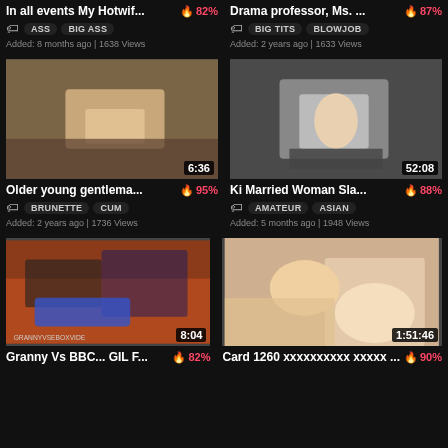In all events My Hotwif... 82%
Drama professor, Ms. ... 87%
ASS  BIG ASS
BIG TITS  BLOWJOB
Added: 8 months ago | 1638 Views
Added: 2 years ago | 1633 Views
[Figure (screenshot): Video thumbnail, duration 6:36]
[Figure (screenshot): Video thumbnail, duration 52:08]
Older young gentlema... 95%
Ki Married Woman Sla... 88%
BRUNETTE  CUM
AMATEUR  ASIAN
Added: 2 years ago | 1736 Views
Added: 5 months ago | 1948 Views
[Figure (screenshot): Video thumbnail, duration 8:04]
[Figure (screenshot): Video thumbnail, duration 1:51:46]
Granny Vs BBC... GIL F... 82%
Сard 1260 xxxxxxxxxx xxxxx ...  90%